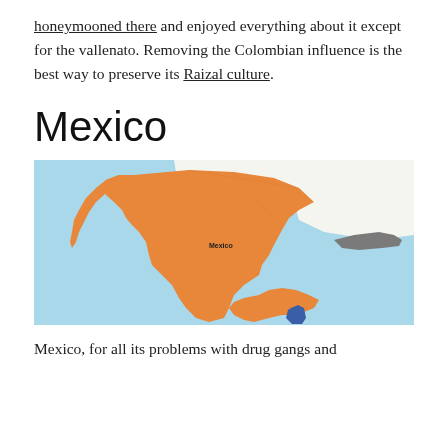honeymooned there and enjoyed everything about it except for the vallenato. Removing the Colombian influence is the best way to preserve its Raizal culture.
Mexico
[Figure (map): Map showing Mexico and surrounding region highlighted in orange, with a small blue area in the southeast (Belize), on a light blue background representing water/sea.]
Mexico, for all its problems with drug gangs and